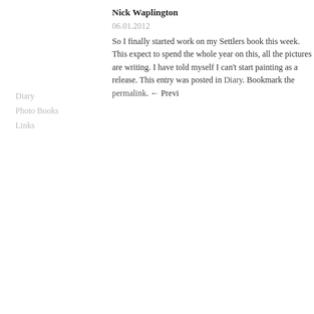Nick Waplington
06.01.2012
So I finally started work on my Settlers book this week. This expect to spend the whole year on this, all the pictures are writing. I have told myself I can't start painting as a release. This entry was posted in Diary. Bookmark the permalink. ← Previ
Diary
Photo Books
Links